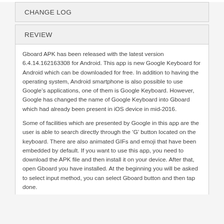CHANGE LOG
REVIEW
Gboard APK has been released with the latest version 6.4.14.162163308 for Android. This app is new Google Keyboard for Android which can be downloaded for free. In addition to having the operating system, Android smartphone is also possible to use Google's applications, one of them is Google Keyboard. However, Google has changed the name of Google Keyboard into Gboard which had already been present in iOS device in mid-2016.
Some of facilities which are presented by Google in this app are the user is able to search directly through the ‘G’ button located on the keyboard. There are also animated GIFs and emoji that have been embedded by default. If you want to use this app, you need to download the APK file and then install it on your device. After that, open Gboard you have installed. At the beginning you will be asked to select input method, you can select Gboard button and then tap done.